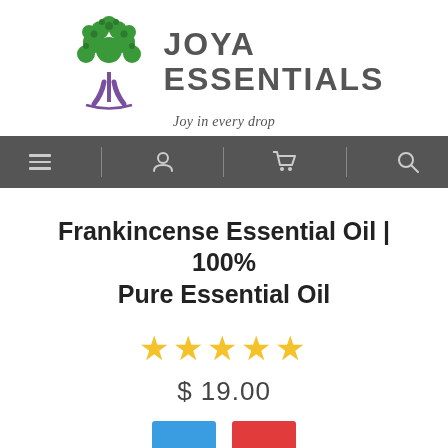[Figure (logo): Joya Essentials logo: stylized tree with green leafy top and purple trunk roots, beside text 'JOYA ESSENTIALS' in dark gray, with tagline 'Joy in every drop' in italic script below]
[Figure (screenshot): Dark gray navigation bar with menu (hamburger), user, cart, and search icons separated by vertical dividers]
Frankincense Essential Oil | 100% Pure Essential Oil
[Figure (other): Five gold/yellow star rating icons]
$ 19.00
[Figure (other): Two buttons partially visible at bottom: a blue button and a red button]